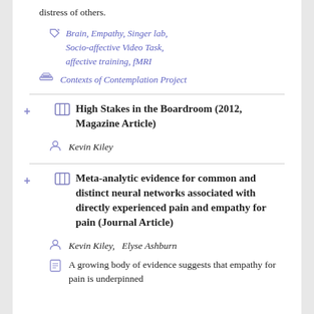distress of others.
Brain, Empathy, Singer lab, Socio-affective Video Task, affective training, fMRI
Contexts of Contemplation Project
High Stakes in the Boardroom (2012, Magazine Article)
Kevin Kiley
Meta-analytic evidence for common and distinct neural networks associated with directly experienced pain and empathy for pain (Journal Article)
Kevin Kiley,   Elyse Ashburn
A growing body of evidence suggests that empathy for pain is underpinned